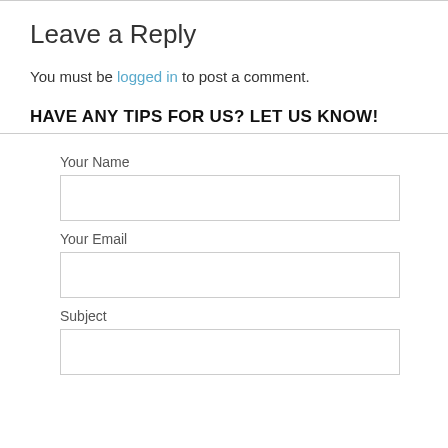Leave a Reply
You must be logged in to post a comment.
HAVE ANY TIPS FOR US? LET US KNOW!
Your Name
Your Email
Subject